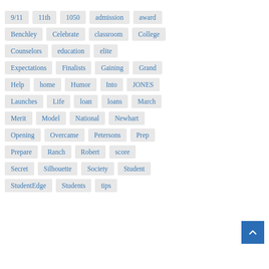9/11
11th
1050
admission
award
Benchley
Celebrate
classroom
College
Counselors
education
elite
Expectations
Finalists
Gaining
Grand
Help
home
Humor
Into
JONES
Launches
Life
loan
loans
March
Merit
Model
National
Newhart
Opening
Overcame
Petersons
Prep
Prepare
Ranch
Robert
score
Secret
Silhouette
Society
Student
StudentEdge
Students
tips